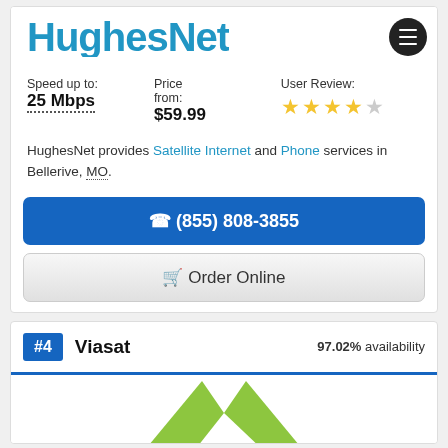[Figure (logo): HughesNet logo in blue with hamburger menu icon]
Speed up to: 25 Mbps | Price from: $59.99 | User Review: 4/5 stars
HughesNet provides Satellite Internet and Phone services in Bellerive, MO.
☎ (855) 808-3855
🛒 Order Online
#4 Viasat    97.02% availability